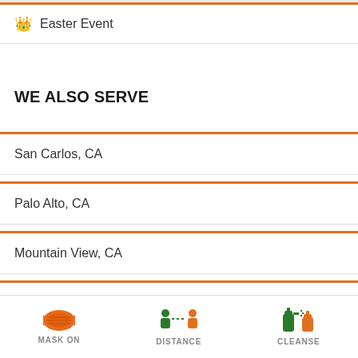🏅 Easter Event
WE ALSO SERVE
San Carlos, CA
Palo Alto, CA
Mountain View, CA
San Jose, CA
[Figure (infographic): Three COVID-19 safety icons: MASK ON (orange mask), DISTANCE (two figures with dotted line between them), CLEANSE (hand sanitizer bottles)]